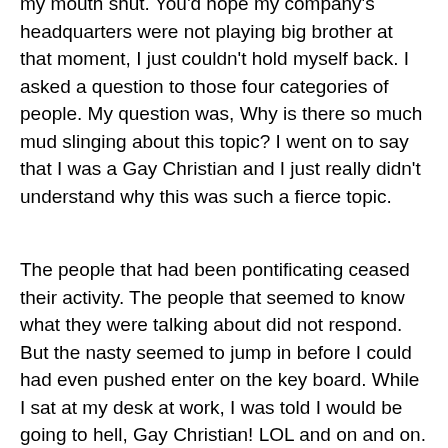my mouth shut. You'd hope my company's headquarters were not playing big brother at that moment, I just couldn't hold myself back. I asked a question to those four categories of people. My question was, Why is there so much mud slinging about this topic? I went on to say that I was a Gay Christian and I just really didn't understand why this was such a fierce topic.
The people that had been pontificating ceased their activity. The people that seemed to know what they were talking about did not respond. But the nasty seemed to jump in before I could had even pushed enter on the key board. While I sat at my desk at work, I was told I would be going to hell, Gay Christian! LOL and on and on. I could not believe my eyes. It